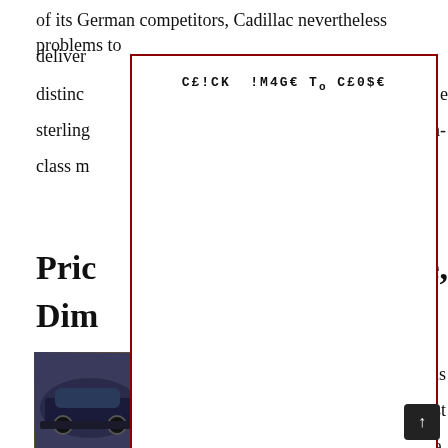of its German competitors, Cadillac nevertheless problems to deliver distinc sterling high-class m
[Figure (other): Overlay modal box with monospace text 'CE!CK !M4GE TO CE0$E' (Click Image To Close) centered at top, covering most of the page content with a dark red border]
Pric se, Dim
[Figure (photo): Partial photo of a dark colored car on a street, partially visible on left side]
is most recently s time, supply German ly incredibly premium pack. However, using the particular 2022